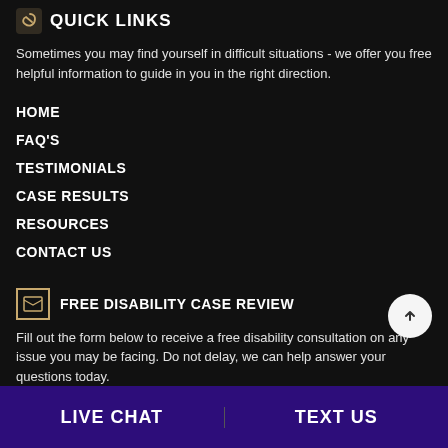QUICK LINKS
Sometimes you may find yourself in difficult situations - we offer you free helpful information to guide in you in the right direction.
HOME
FAQ'S
TESTIMONIALS
CASE RESULTS
RESOURCES
CONTACT US
FREE DISABILITY CASE REVIEW
Fill out the form below to receive a free disability consultation on any issue you may be facing. Do not delay, we can help answer your questions today.
LIVE CHAT   TEXT US